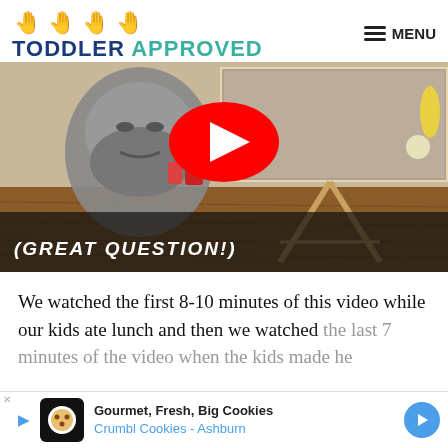TODDLER APPROVED — MENU
[Figure (screenshot): YouTube video thumbnail showing a 3D animated scene with a face, text overlaid '(GREAT QUESTION!)' and a red YouTube play button in the center]
We watched the first 8-10 minutes of this video while our kids ate lunch and then we watched the last 7 minutes of the video when the kids made ...he
[Figure (other): Advertisement banner for Crumbl Cookies - Ashburn: Gourmet, Fresh, Big Cookies]